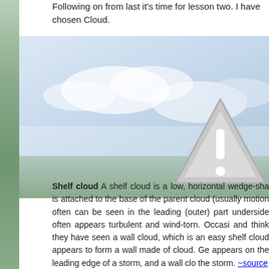Following on from last it's time for lesson two. I have chosen Cloud.
[Figure (photo): Outdoor landscape photo with sky and clouds, partially visible on left side. A grey warning/alert triangle icon with exclamation mark is overlaid on the right-center of the image.]
Shelf cloud A shelf cloud is a low, horizontal wedge-sha is attached to the base of the parent cloud (usually motion often can be seen in the leading (outer) part underside often appears turbulent and wind-torn. Occasi and think they have seen a wall cloud, which is an easy shelf cloud appears to form a wall made of cloud. Ge appears on the leading edge of a storm, and a wall clo the storm. ~source